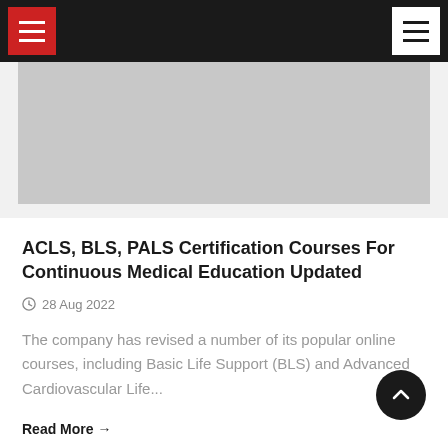Navigation bar with hamburger menus
[Figure (photo): Gray placeholder image for article header photo]
ACLS, BLS, PALS Certification Courses For Continuous Medical Education Updated
28 Aug 2022
The company has revised a number of its popular online courses, including Basic Life Support (BLS) and Advanced Cardiovascular Life...
Read More →